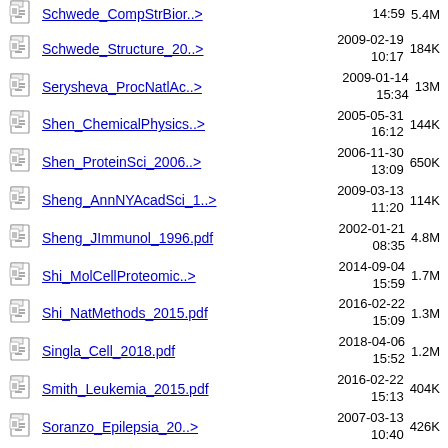Schwede_CompStrBior..> 14:59 5.4M
Schwede_Structure_20..> 2009-02-19 10:17 184K
Serysheva_ProcNatlAc..> 2009-01-14 15:34 13M
Shen_ChemicalPhysics..> 2005-05-31 16:12 144K
Shen_ProteinSci_2006..> 2006-11-30 13:09 650K
Sheng_AnnNYAcadSci_1..> 2009-03-13 11:20 114K
Sheng_JImmunol_1996.pdf 2002-01-21 08:35 4.8M
Shi_MolCellProteomic..> 2014-09-04 15:59 1.7M
Shi_NatMethods_2015.pdf 2016-02-22 15:09 1.3M
Singla_Cell_2018.pdf 2018-04-06 15:52 1.2M
Smith_Leukemia_2015.pdf 2016-02-22 15:13 404K
Soranzo_Epilepsia_20..> 2007-03-13 10:40 426K